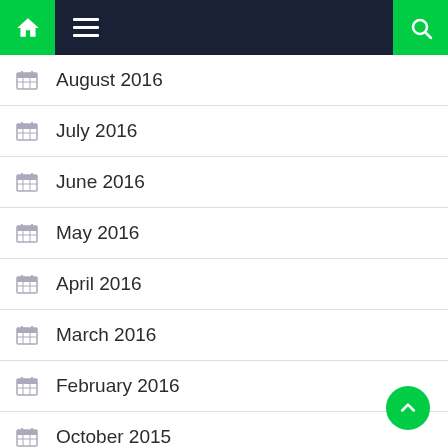Navigation bar with home, menu, and search icons
August 2016
July 2016
June 2016
May 2016
April 2016
March 2016
February 2016
October 2015
March 2015
February 2015